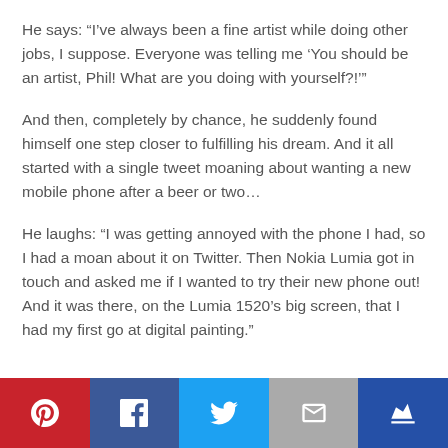He says: “I’ve always been a fine artist while doing other jobs, I suppose. Everyone was telling me ‘You should be an artist, Phil! What are you doing with yourself?!’”
And then, completely by chance, he suddenly found himself one step closer to fulfilling his dream. And it all started with a single tweet moaning about wanting a new mobile phone after a beer or two…
He laughs: “I was getting annoyed with the phone I had, so I had a moan about it on Twitter. Then Nokia Lumia got in touch and asked me if I wanted to try their new phone out! And it was there, on the Lumia 1520’s big screen, that I had my first go at digital painting.”
[Figure (infographic): Social sharing bar with five buttons: Pinterest (red), Facebook (dark blue), Twitter (light blue), Email (grey), Crown/bookmark (dark blue)]